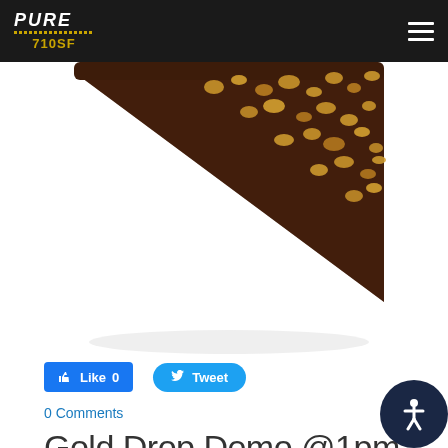PURE 710SF
[Figure (photo): Triangular dark chocolate bar with chopped nuts on top, on white background]
Like 0   Tweet
0 Comments
Gold Drop Demo @1pm - 5pm on Dec. 22nd ( Saturday)